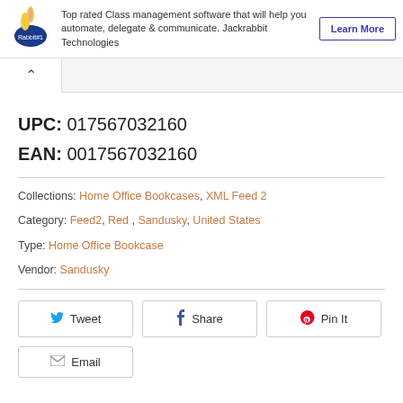[Figure (infographic): Ad banner: Jackrabbit Technologies logo, text 'Top rated Class management software that will help you automate, delegate & communicate. Jackrabbit Technologies', and a 'Learn More' button]
UPC: 017567032160
EAN: 0017567032160
Collections: Home Office Bookcases, XML Feed 2
Category: Feed2, Red, Sandusky, United States
Type: Home Office Bookcase
Vendor: Sandusky
[Figure (other): Social sharing buttons: Tweet, Share, Pin It, and Email]